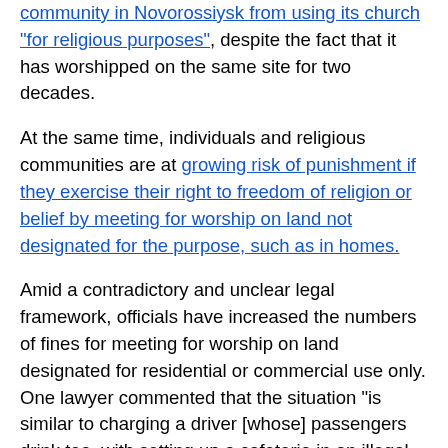community in Novorossiysk from using its church "for religious purposes", despite the fact that it has worshipped on the same site for two decades.
At the same time, individuals and religious communities are at growing risk of punishment if they exercise their right to freedom of religion or belief by meeting for worship on land not designated for the purpose, such as in homes.
Amid a contradictory and unclear legal framework, officials have increased the numbers of fines for meeting for worship on land designated for residential or commercial use only. One lawyer commented that the situation "is similar to charging a driver [whose] passengers drink tea, with setting up a cafeteria in an illegal place without obtaining the necessary permits and approvals, and violating the land use laws because the road is not designed [for the purpose]". The numbers of such fines have been increasing sharply from 2016.
Particularly in rural areas, some religious communities